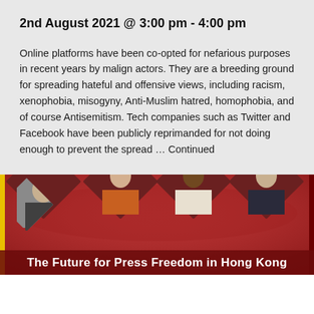2nd August 2021 @ 3:00 pm - 4:00 pm
Online platforms have been co-opted for nefarious purposes in recent years by malign actors. They are a breeding ground for spreading hateful and offensive views, including racism, xenophobia, misogyny, Anti-Muslim hatred, homophobia, and of course Antisemitism. Tech companies such as Twitter and Facebook have been publicly reprimanded for not doing enough to prevent the spread ... Continued
[Figure (photo): Banner image showing four people in diamond-shaped frames on a red background with the text 'The Future for Press Freedom in Hong Kong' at the bottom. A yellow vertical stripe is on the left edge.]